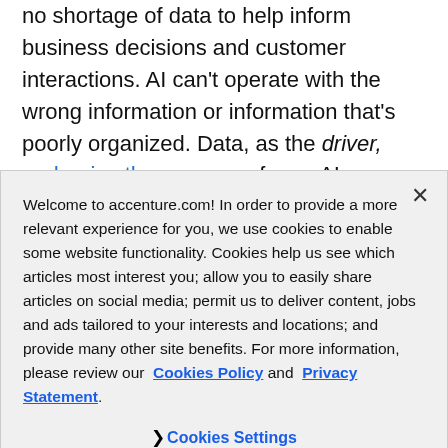no shortage of data to help inform business decisions and customer interactions. AI can't operate with the wrong information or information that's poorly organized. Data, as the driver, underpins the success of your AI initiatives. Data quality assurance, management and governance across the cloud platforms you choose is critical for the successful implementation of
Welcome to accenture.com! In order to provide a more relevant experience for you, we use cookies to enable some website functionality. Cookies help us see which articles most interest you; allow you to easily share articles on social media; permit us to deliver content, jobs and ads tailored to your interests and locations; and provide many other site benefits. For more information, please review our Cookies Policy and Privacy Statement.
Cookies Settings